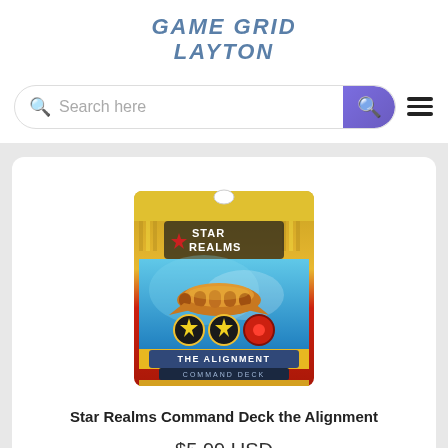GAMEGRID LAYTON
[Figure (screenshot): Search bar with purple search button and hamburger menu icon]
[Figure (photo): Star Realms Command Deck the Alignment card game product packaging image]
Star Realms Command Deck the Alignment
$5.99 USD